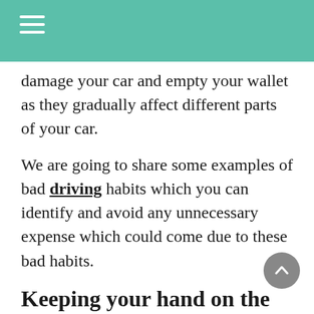damage your car and empty your wallet as they gradually affect different parts of your car.
We are going to share some examples of bad driving habits which you can identify and avoid any unnecessary expense which could come due to these bad habits.
Keeping your hand on the gear stick when you are not using it
This is the most common driving mistake people make. Many people have this habit of